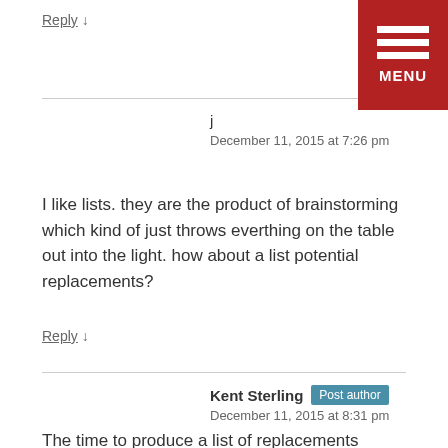Reply ↓
j
December 11, 2015 at 7:26 pm
I like lists. they are the product of brainstorming which kind of just throws everthing on the table out into the light. how about a list potential replacements?
Reply ↓
Kent Sterling  Post author
December 11, 2015 at 8:31 pm
The time to produce a list of replacements comes after the